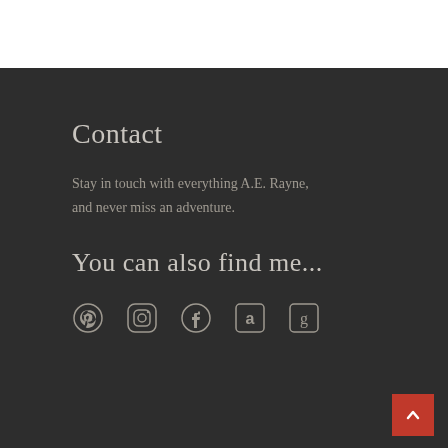Contact
Stay in touch with everything A.E. Rayne, and never miss an adventure.
You can also find me...
[Figure (infographic): Row of five social media icons: Pinterest, Instagram, Facebook, Amazon, Goodreads — displayed as white circle/square outline icons on dark background]
[Figure (other): Red back-to-top button with white upward chevron arrow in bottom right corner]